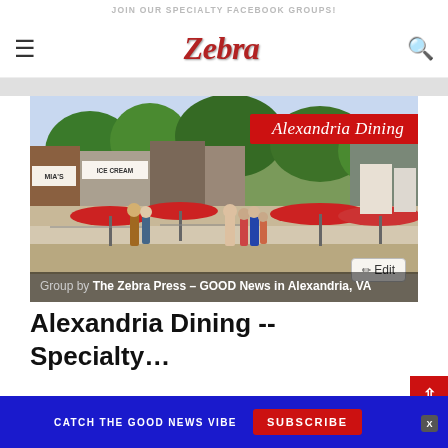JOIN OUR SPECIALTY FACEBOOK GROUPS!
[Figure (logo): Zebra Press logo with hamburger menu icon on left and search icon on right]
[Figure (photo): Street scene of Alexandria, VA dining district with outdoor seating, red umbrellas, and pedestrians. Red banner overlay reads 'Alexandria Dining'. Edit button in lower right corner.]
Group by The Zebra Press - GOOD News in Alexandria, VA
Alexandria Dining --
CATCH THE GOOD NEWS VIBE  SUBSCRIBE